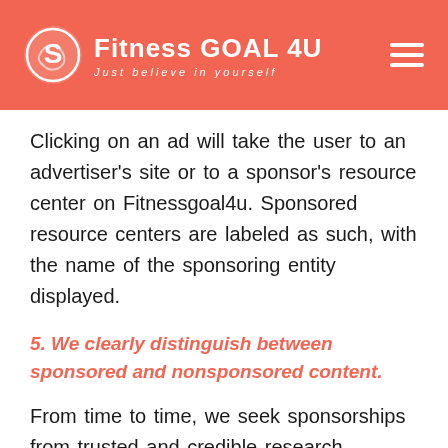Fitness GOAL 4U — Just believe in yourself
Clicking on an ad will take the user to an advertiser's site or to a sponsor's resource center on Fitnessgoal4u. Sponsored resource centers are labeled as such, with the name of the sponsoring entity displayed.
5. We clearly distinguish between sponsored and nonsponsored content.
From time to time, we seek sponsorships from trusted and credible research organizations, manufacturers, and other service providers. Sponsorships provide financial benefit to Fitnessgoal4u but also benefit our users by providing current information on health